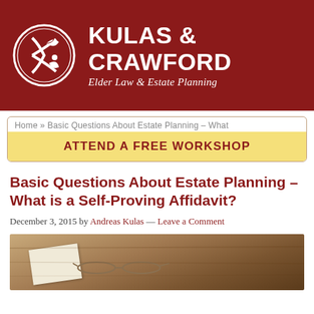[Figure (logo): Kulas & Crawford Elder Law & Estate Planning firm logo with circular leaf/K emblem on dark red background]
Home » Basic Questions About Estate Planning – What
ATTEND A FREE WORKSHOP
Basic Questions About Estate Planning – What is a Self-Proving Affidavit?
December 3, 2015 by Andreas Kulas — Leave a Comment
[Figure (photo): Close-up photo of documents and glasses on a wooden desk surface]